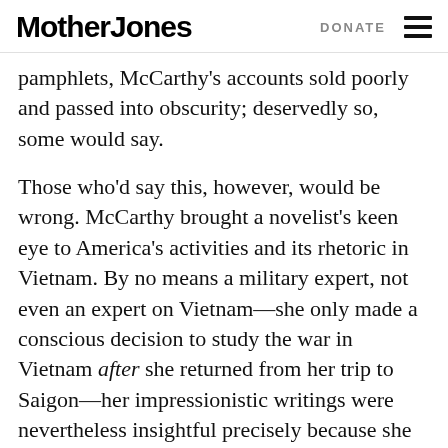Mother Jones | DONATE
pamphlets, McCarthy's accounts sold poorly and passed into obscurity; deservedly so, some would say.
Those who'd say this, however, would be wrong. McCarthy brought a novelist's keen eye to America's activities and its rhetoric in Vietnam. By no means a military expert, not even an expert on Vietnam—she only made a conscious decision to study the war in Vietnam after she returned from her trip to Saigon—her impressionistic writings were nevertheless insightful precisely because she had long been a critical thinker beholden to no authority.